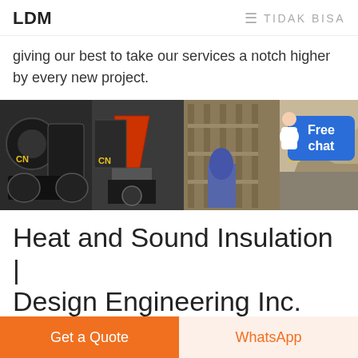LDM   ≡ TIDAK BISA
giving our best to take our services a notch higher by every new project.
[Figure (photo): A horizontal strip of five industrial/mining machinery and quarry photographs, each watermarked with 'CN'. At the far right is a 'Free chat' button overlay with a customer service avatar.]
Heat and Sound Insulation | Design Engineering Inc.
Heat and Sound Insulation. At Design Engineering Inc. we
Get a Quote
WhatsApp